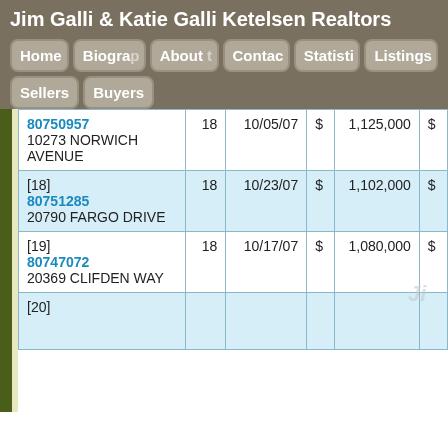Jim Galli & Katie Galli Ketelsen Realtors
[Figure (screenshot): Navigation menu with buttons: Home, Biography, About, Contact, Statistics, Listings, Sellers, Buyers]
| Address/ID |  | Date | $ | Amount | $ |
| --- | --- | --- | --- | --- | --- |
| 80750957
10273 NORWICH AVENUE | 18 | 10/05/07 | $ | 1,125,000 | $ |
| [18]
80751285
20790 FARGO DRIVE | 18 | 10/23/07 | $ | 1,102,000 | $ |
| [19]
80747072
20369 CLIFDEN WAY | 18 | 10/17/07 | $ | 1,080,000 | $ |
| [20] |  |  |  |  |  |